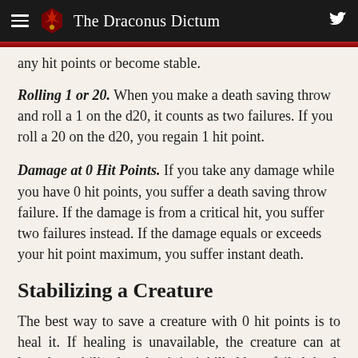The Draconus Dictum
any hit points or become stable.
Rolling 1 or 20. When you make a death saving throw and roll a 1 on the d20, it counts as two failures. If you roll a 20 on the d20, you regain 1 hit point.
Damage at 0 Hit Points. If you take any damage while you have 0 hit points, you suffer a death saving throw failure. If the damage is from a critical hit, you suffer two failures instead. If the damage equals or exceeds your hit point maximum, you suffer instant death.
Stabilizing a Creature
The best way to save a creature with 0 hit points is to heal it. If healing is unavailable, the creature can at least be stabilized so that it isn't killed by a failed death saving throw.